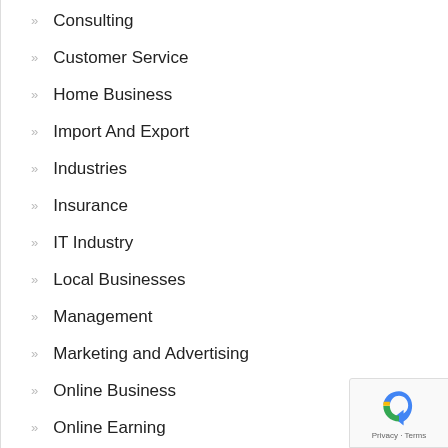Consulting
Customer Service
Home Business
Import And Export
Industries
Insurance
IT Industry
Local Businesses
Management
Marketing and Advertising
Online Business
Online Earning